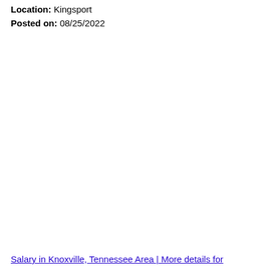Location: Kingsport
Posted on: 08/25/2022
Salary in Knoxville, Tennessee Area | More details for